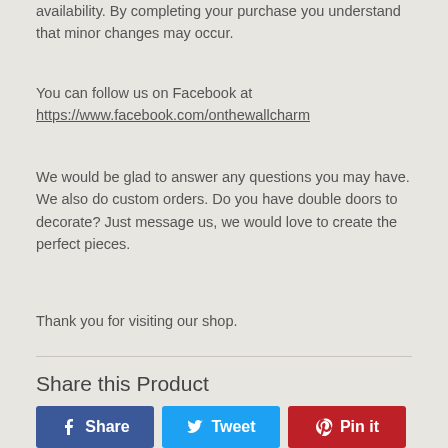availability. By completing your purchase you understand that minor changes may occur.
You can follow us on Facebook at https://www.facebook.com/onthewallcharm
We would be glad to answer any questions you may have. We also do custom orders. Do you have double doors to decorate? Just message us, we would love to create the perfect pieces.
Thank you for visiting our shop.
Share this Product
[Figure (other): Three social sharing buttons: Facebook Share (dark blue), Twitter Tweet (light blue), Pinterest Pin it (dark red)]